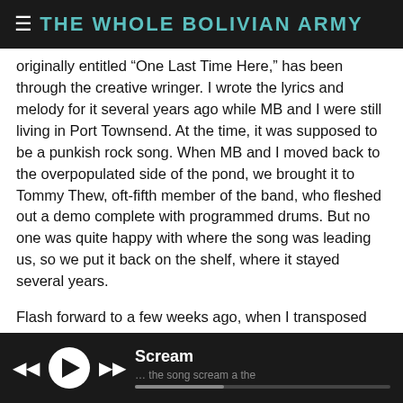THE WHOLE BOLIVIAN ARMY
originally entitled “One Last Time Here,” has been through the creative wringer. I wrote the lyrics and melody for it several years ago while MB and I were still living in Port Townsend. At the time, it was supposed to be a punkish rock song. When MB and I moved back to the overpopulated side of the pond, we brought it to Tommy Thew, oft-fifth member of the band, who fleshed out a demo complete with programmed drums. But no one was quite happy with where the song was leading us, so we put it back on the shelf, where it stayed several years.
Flash forward to a few weeks ago, when I transposed the heavy guitar part to the synthesizer, opting for an '80s sound. We needed just one rehearsal at the Strickland mansion for the song to come together. Greg unleashed his flying fingers on a galloping bass part, and Dave pounded away at a custom
Scream